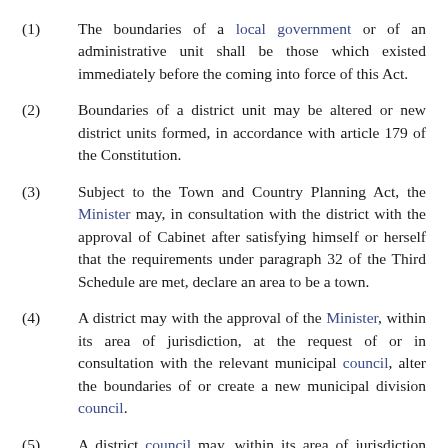(1) The boundaries of a local government or of an administrative unit shall be those which existed immediately before the coming into force of this Act.
(2) Boundaries of a district unit may be altered or new district units formed, in accordance with article 179 of the Constitution.
(3) Subject to the Town and Country Planning Act, the Minister may, in consultation with the district with the approval of Cabinet after satisfying himself or herself that the requirements under paragraph 32 of the Third Schedule are met, declare an area to be a town.
(4) A district may with the approval of the Minister, within its area of jurisdiction, at the request of or in consultation with the relevant municipal council, alter the boundaries of or create a new municipal division council.
(5) A district council may, within its area of jurisdiction and with the approval of the Minister at the request of or in consultation with the relevant subcounty